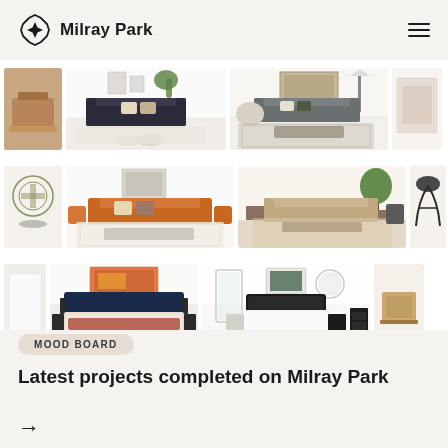Milray Park
[Figure (screenshot): Scrollable horizontal gallery showing interior design mood board images in three rows: living rooms with sofas, rugs, and decor; bedroom arrangements with furniture pieces]
MOOD BOARD
Latest projects completed on Milray Park
→